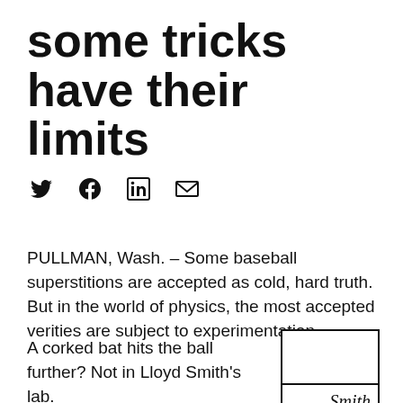some tricks have their limits
[Figure (infographic): Social media share icons: Twitter (bird), Facebook (f), LinkedIn (in), Email (envelope)]
PULLMAN, Wash. – Some baseball superstitions are accepted as cold, hard truth. But in the world of physics, the most accepted verities are subject to experimentation.
A corked bat hits the ball further? Not in Lloyd Smith's lab.
[Figure (photo): Photo box with caption 'Smith' in italic serif font — a portrait placeholder with the name Smith below it]
Baseballs today are livelier than in the